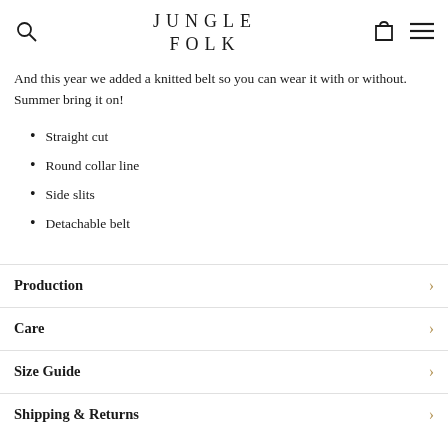JUNGLE FOLK
And this year we added a knitted belt so you can wear it with or without. Summer bring it on!
Straight cut
Round collar line
Side slits
Detachable belt
Production
Care
Size Guide
Shipping & Returns